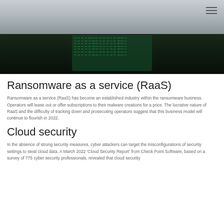[Figure (photo): Dark cybersecurity hero image with a digital screen showing code/binary text on dark green background, with grey navigation bar and hamburger menu icon in top right]
Ransomware as a service (RaaS)
Ransomware as a service (RaaS) has become an established industry within the ransomware business. Operators will lease out or offer subscriptions to their malware creations for a price. The lucrative nature of RaaS and the difficulty of tracking down and prosecuting operators suggest that this business model will continue to flourish in 2022.
Cloud security
In the absence of strong security measures, cyber attackers can target the misconfigurations of security settings to steal cloud data. A March 2022 'Cloud Security Report' from Check Point Software, based on a survey of 775 cyber security professionals, revealed that cloud security